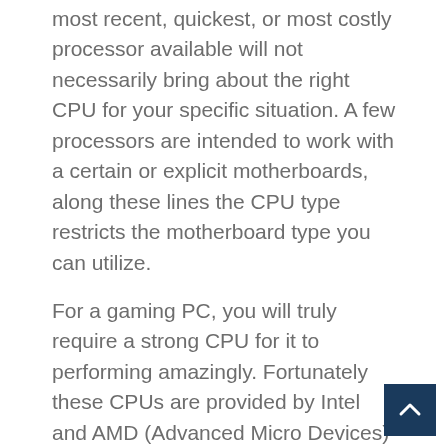most recent, quickest, or most costly processor available will not necessarily bring about the right CPU for your specific situation. A few processors are intended to work with a certain or explicit motherboards, along these lines the CPU type restricts the motherboard type you can utilize.
For a gaming PC, you will truly require a strong CPU for it to performing amazingly. Fortunately these CPUs are provided by Intel and AMD (Advanced Micro Devices) at a reasonable cost.
Intel has the Core i7 and Core i5 processor models. Right now these models are the most famous ones utilized for gaming, which are generally suggested for gaming PCs.
AMD, then again, has the Athlon and Phenom series go AMD, you can attempt the most suggested Phenom